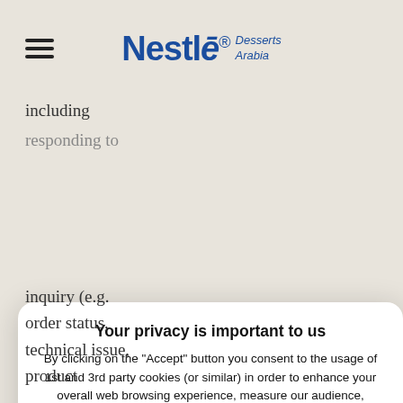Nestlé Desserts Arabia
including
responding to
Your privacy is important to us
By clicking on the "Accept" button you consent to the usage of 1st and 3rd party cookies (or similar) in order to enhance your overall web browsing experience, measure our audience, collect useful information to allow us and our partners to provide you with ads tailored to your interests. Learn more on our privacy notice and set your preferences by clicking here or at any time by clicking on the "Privacy settings" link on our website.
Accept
Decline
inquiry (e.g. order status, technical issue, product